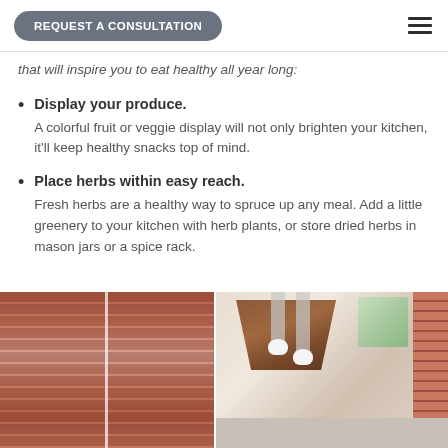REQUEST A CONSULTATION
that will inspire you to eat healthy all year long:
Display your produce. A colorful fruit or veggie display will not only brighten your kitchen, it'll keep healthy snacks top of mind.
Place herbs within easy reach. Fresh herbs are a healthy way to spruce up any meal. Add a little greenery to your kitchen with herb plants, or store dried herbs in mason jars or a spice rack.
[Figure (photo): Kitchen interior showing red/terracotta roman blinds on windows on the left side, and a kitchen with a wooden range hood, pendant lights, and counter on the right side.]